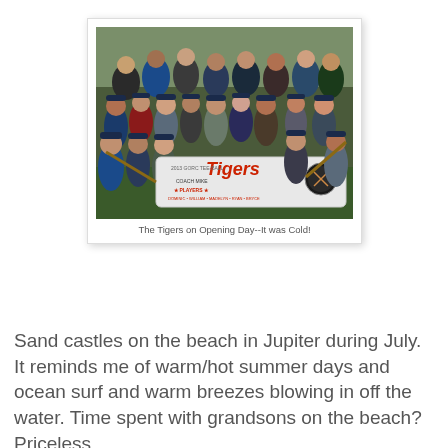[Figure (photo): Group photo of youth baseball team (Tigers) at Opening Day, holding a Tigers banner with team name and player names listed, surrounded by other children and adults outdoors. A large banner reads 'Tigers' in orange script with '2013 GORC Tee-Ball', 'Coach Mike', and 'Players' listed.]
The Tigers on Opening Day--It was Cold!
Sand castles on the beach in Jupiter during July. It reminds me of warm/hot summer days and ocean surf and warm breezes blowing in off the water. Time spent with grandsons on the beach? Priceless.